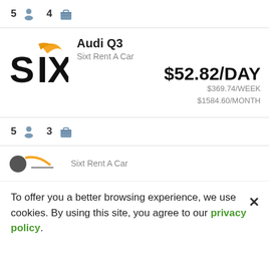5 [person icon] 4 [bag icon]
Audi Q3 | Sixt Rent A Car | $52.82/DAY | $369.74/WEEK | $1584.60/MONTH
5 [person icon] 3 [bag icon]
Sixt Rent A Car
To offer you a better browsing experience, we use cookies. By using this site, you agree to our privacy policy.